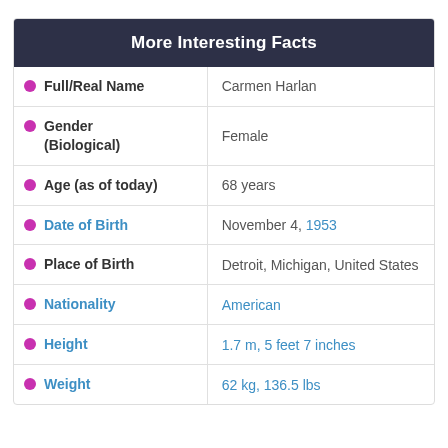More Interesting Facts
|  |  |
| --- | --- |
| Full/Real Name | Carmen Harlan |
| Gender (Biological) | Female |
| Age (as of today) | 68 years |
| Date of Birth | November 4, 1953 |
| Place of Birth | Detroit, Michigan, United States |
| Nationality | American |
| Height | 1.7 m, 5 feet 7 inches |
| Weight | 62 kg, 136.5 lbs |